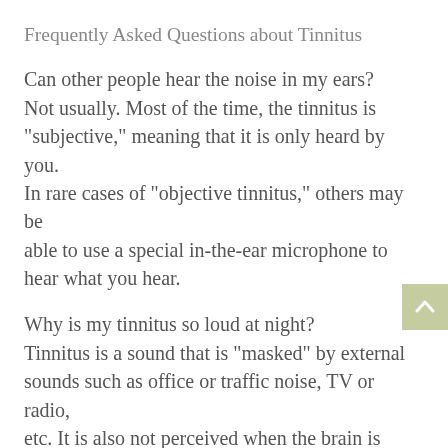Frequently Asked Questions about Tinnitus
Can other people hear the noise in my ears? Not usually. Most of the time, the tinnitus is "subjective," meaning that it is only heard by you. In rare cases of "objective tinnitus," others may be able to use a special in-the-ear microphone to hear what you hear.
Why is my tinnitus so loud at night? Tinnitus is a sound that is "masked" by external sounds such as office or traffic noise, TV or radio, etc. It is also not perceived when the brain is busy elsewhere, such as at work. At night, when external sounds are at a minimum and the brain is not focused on something else, tinnitus often sounds much louder and becomes more